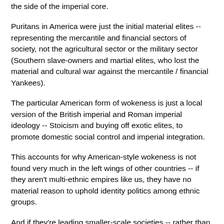the side of the imperial core.
Puritans in America were just the initial material elites -- representing the mercantile and financial sectors of society, not the agricultural sector or the military sector (Southern slave-owners and martial elites, who lost the material and cultural war against the mercantile / financial Yankees).
The particular American form of wokeness is just a local version of the British imperial and Roman imperial ideology -- Stoicism and buying off exotic elites, to promote domestic social control and imperial integration.
This accounts for why American-style wokeness is not found very much in the left wings of other countries -- if they aren't multi-ethnic empires like us, they have no material reason to uphold identity politics among ethnic groups.
And if they're leading smaller-scale societies -- rather than a towering empire -- they don't have as much to prove about being responsible and virtuous. The greater the degree of wealth and power you're in control of, the greater your sense